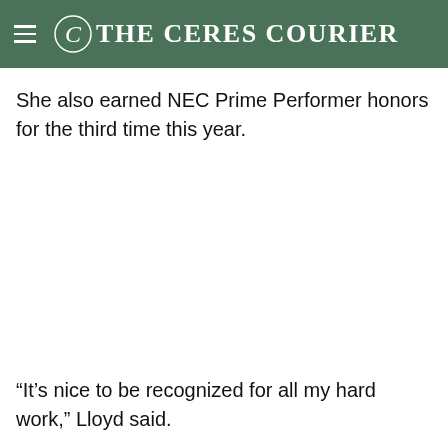The Ceres Courier
She also earned NEC Prime Performer honors for the third time this year.
“It’s nice to be recognized for all my hard work,” Lloyd said.